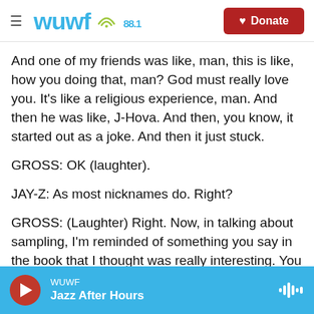WUWF 88.1 | Donate
And one of my friends was like, man, this is like, how you doing that, man? God must really love you. It's like a religious experience, man. And then he was like, J-Hova. And then, you know, it started out as a joke. And then it just stuck.
GROSS: OK (laughter).
JAY-Z: As most nicknames do. Right?
GROSS: (Laughter) Right. Now, in talking about sampling, I'm reminded of something you say in the book that I thought was really interesting. You
WUWF | Jazz After Hours